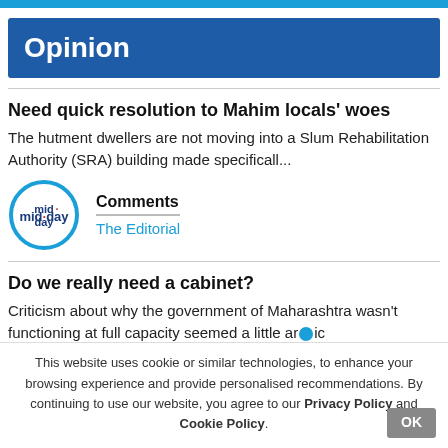Opinion
Need quick resolution to Mahim locals' woes
The hutment dwellers are not moving into a Slum Rehabilitation Authority (SRA) building made specificall...
[Figure (logo): mid-day logo — circular logo with blue arc and mid·day text]
Comments
The Editorial
Do we really need a cabinet?
Criticism about why the government of Maharashtra wasn't functioning at full capacity seemed a little ar...ic
This website uses cookie or similar technologies, to enhance your browsing experience and provide personalised recommendations. By continuing to use our website, you agree to our Privacy Policy and Cookie Policy.